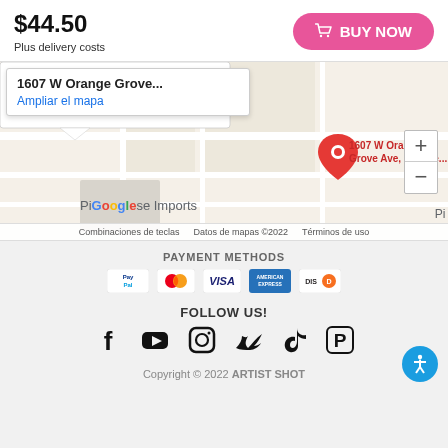$44.50
Plus delivery costs
BUY NOW
[Figure (map): Google Map showing location at 1607 W Orange Grove Ave, Orange. Map popup shows address and 'Ampliar el mapa' link. Red pin marker on map. Zoom controls (+/-) on right. Footer shows: Combinaciones de teclas, Datos de mapas ©2022, Términos de uso.]
PAYMENT METHODS
[Figure (infographic): Payment method icons: PayPal, Mastercard, Visa, American Express, Discover]
FOLLOW US!
[Figure (infographic): Social media icons: Facebook, YouTube, Instagram, Twitter, TikTok, Pinterest]
Copyright © 2022 ARTIST SHOT